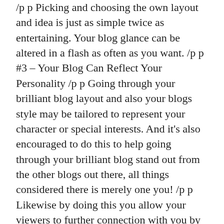/p p Picking and choosing the own layout and idea is just as simple twice as entertaining. Your blog glance can be altered in a flash as often as you want. /p p #3 – Your Blog Can Reflect Your Personality /p p Going through your brilliant blog layout and also your blogs style may be tailored to represent your character or special interests. And it's also encouraged to do this to help going through your brilliant blog stand out from the other blogs out there, all things considered there is merely one you! /p p Likewise by doing this you allow your viewers to further connection with you by providing them a deeper insight into who you are and what makes you tick. /p p #4 – Inexpensive Advertising /p p A blog page is one of the many cost efficient advertising methods obtainable and a powerful approach to gain an online presence. In a